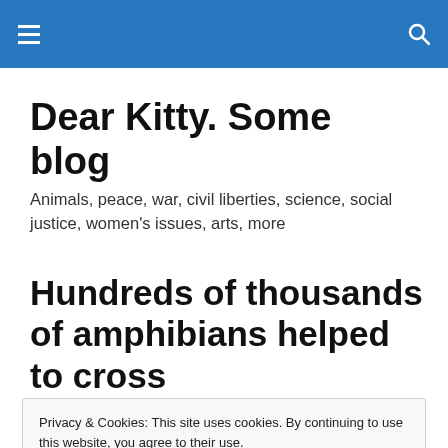Dear Kitty. Some blog — navigation header with menu and search icons
Dear Kitty. Some blog
Animals, peace, war, civil liberties, science, social justice, women's issues, arts, more
Hundreds of thousands of amphibians helped to cross
Privacy & Cookies: This site uses cookies. By continuing to use this website, you agree to their use.
To find out more, including how to control cookies, see here: Cookie Policy
Close and accept